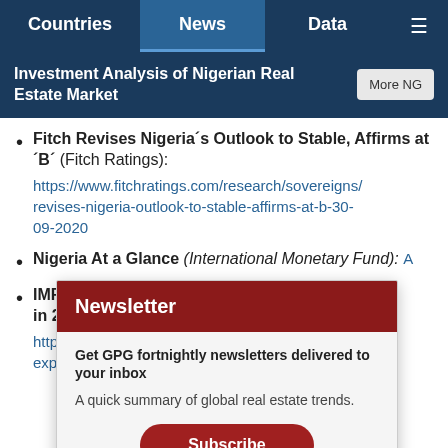Countries | News | Data | ≡
Investment Analysis of Nigerian Real Estate Market
Fitch Revises Nigeria´s Outlook to Stable, Affirms at ´B´ (Fitch Ratings): https://www.fitchratings.com/research/sovereigns/revises-nigeria-outlook-to-stable-affirms-at-b-30-09-2020
Nigeria At a Glance (International Monetary Fund): [link]
IMF ex...4% in 202... https://...expect...20/
Newsletter
Get GPG fortnightly newsletters delivered to your inbox
A quick summary of global real estate trends.
Subscribe